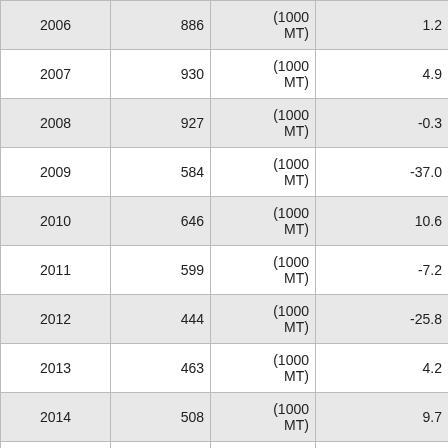| Year | Value | Unit | Change (%) |
| --- | --- | --- | --- |
| 2006 | 886 | (1000 MT) | 1.2 |
| 2007 | 930 | (1000 MT) | 4.9 |
| 2008 | 927 | (1000 MT) | -0.3 |
| 2009 | 584 | (1000 MT) | -37.0 |
| 2010 | 646 | (1000 MT) | 10.6 |
| 2011 | 599 | (1000 MT) | -7.2 |
| 2012 | 444 | (1000 MT) | -25.8 |
| 2013 | 463 | (1000 MT) | 4.2 |
| 2014 | 508 | (1000 MT) | 9.7 |
| 2015 | 491 | (1000 MT) | -3.3 |
| 2016 | 488 | (1000 MT) | -0.6 |
| 2017 | 432 | (1000 MT) | -11.4 |